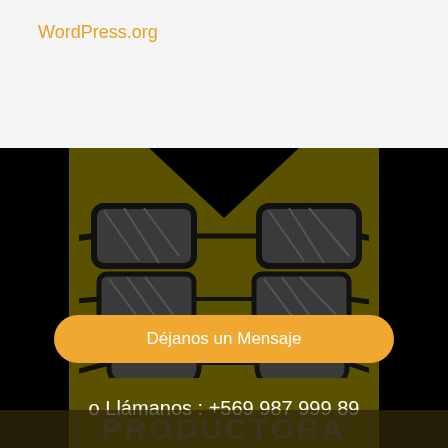WordPress.org
[Figure (illustration): Stacked eyeglasses illustration on olive/dark yellow background with black side panels and a V-shaped notch at top. Three pairs of glasses stacked vertically with small decorative element between second and third pair.]
Déjanos un Mensaje
o Llámanos : +569 987 999 89
PRODUCTORA